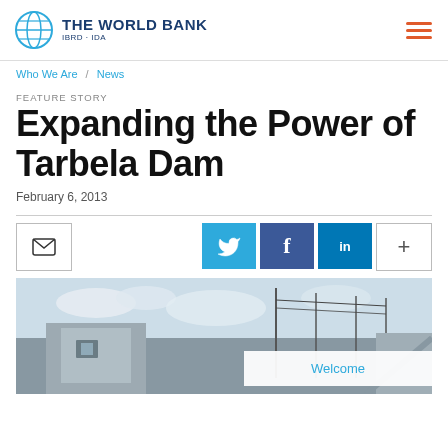THE WORLD BANK IBRD · IDA
Who We Are / News
FEATURE STORY
Expanding the Power of Tarbela Dam
February 6, 2013
[Figure (other): Social sharing icons: email, Twitter, Facebook, LinkedIn, plus button]
[Figure (photo): Photograph of Tarbela Dam infrastructure showing concrete structures, utility poles, and power lines. A 'Welcome' button overlay is visible in the bottom right.]